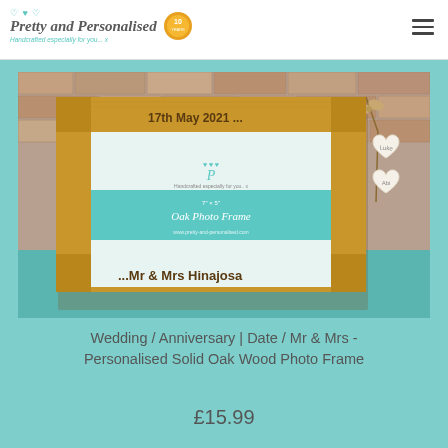Pretty and Personalised — Handcrafted especially for you... x
[Figure (photo): A personalised solid oak wood photo frame with '17th May 2021...' engraved on top and '...Mr & Mrs Hinajosa' on the bottom, with two wooden heart decorations labelled 'Luke' and 'Abi'. The frame contains the brand's insert card showing a 7x5 Oak Photo Frame label.]
Wedding / Anniversary | Date / Mr & Mrs - Personalised Solid Oak Wood Photo Frame
£15.99